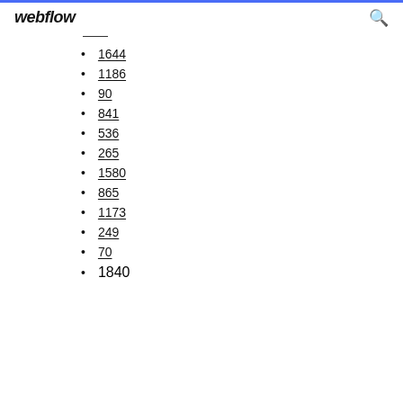webflow
1644
1186
90
841
536
265
1580
865
1173
249
70
1840